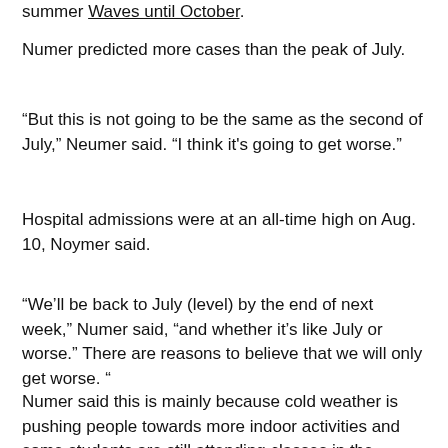summer Waves until October.
Numer predicted more cases than the peak of July.
“But this is not going to be the same as the second of July,” Neumer said. “I think it’s going to get worse.”
Hospital admissions were at an all-time high on Aug. 10, Noymer said.
“We’ll be back to July (level) by the end of next week,” Numer said, “and whether it’s like July or worse.” There are reasons to believe that we will only get worse. “
Numer said this is mainly because cold weather is pushing people towards more indoor activities and some students are still attending classes in the classrooms.